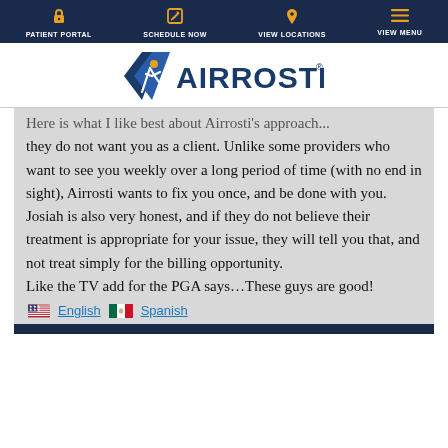PATIENT PORTAL | SCHEDULE NOW | VIEW LOCATIONS | VIEW MENU
[Figure (logo): Airrosti logo with blue chevron/runner icon and orange registered trademark]
Here is what I like best about Airrosti's approach... they do not want you as a client. Unlike some providers who want to see you weekly over a long period of time (with no end in sight), Airrosti wants to fix you once, and be done with you. Josiah is also very honest, and if they do not believe their treatment is appropriate for your issue, they will tell you that, and not treat simply for the billing opportunity.
Like the TV add for the PGA says…These guys are good!
English  Spanish